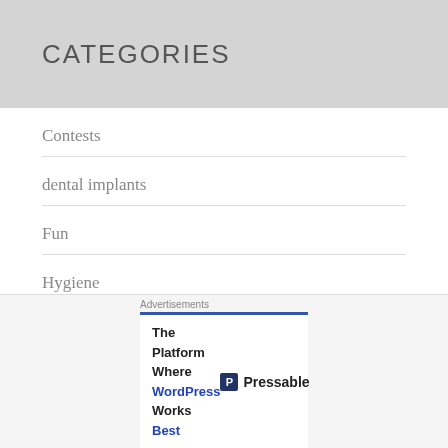CATEGORIES
Contests
dental implants
Fun
Hygiene
Oral Health
Uncategorized
Advertisements
The Platform Where WordPress Works Best — Pressable